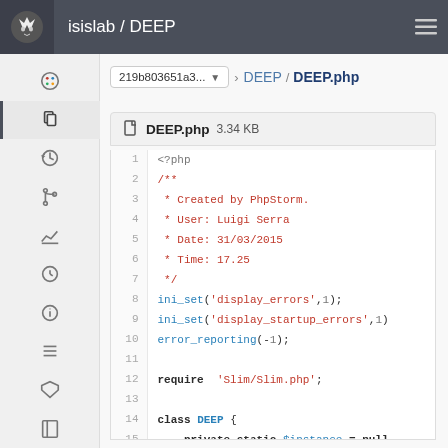isislab / DEEP
219b803651a3... ▾  >  DEEP /  DEEP.php
DEEP.php 3.34 KB
1  <?php
2  /**
3   * Created by PhpStorm.
4   * User: Luigi Serra
5   * Date: 31/03/2015
6   * Time: 17.25
7   */
8  ini_set('display_errors',1);
9  ini_set('display_startup_errors',1)
10 error_reporting(-1);
11
12 require  'Slim/Slim.php';
13
14 class DEEP {
15     private static $instance = null